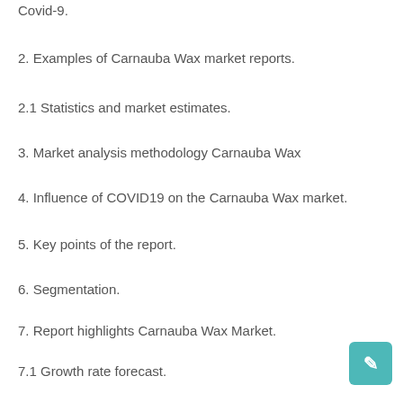Covid-9.
2. Examples of Carnauba Wax market reports.
2.1 Statistics and market estimates.
3. Market analysis methodology Carnauba Wax
4. Influence of COVID19 on the Carnauba Wax market.
5. Key points of the report.
6. Segmentation.
7. Report highlights Carnauba Wax Market.
7.1 Growth rate forecast.
7.2 Future investment opportunities.